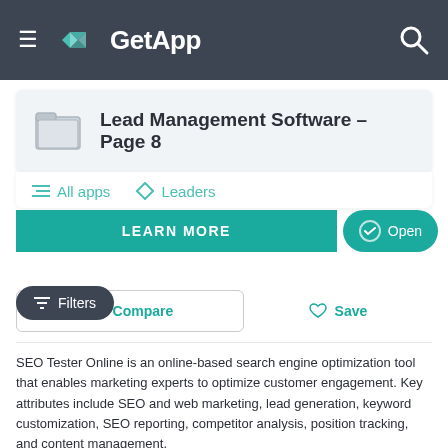GetApp
Lead Management Software – Page 8
All apps   Leaders
LEARN MORE   Open
Filters
Compare   Save
SEO Tester Online is an online-based search engine optimization tool that enables marketing experts to optimize customer engagement. Key attributes include SEO and web marketing, lead generation, keyword customization, SEO reporting, competitor analysis, position tracking, and content management.
Read more about SEO Tester Online